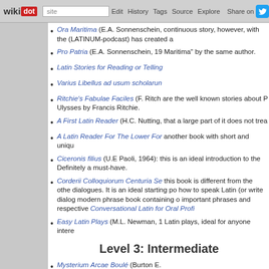wikidot | site | Edit | History | Tags | Source | Explore | Share on Twitter
Ora Maritima (E.A. Sonnenschein, continuous story, however, with the (LATINUM-podcast) has created a
Pro Patria (E.A. Sonnenschein, 19 Maritima" by the same author.
Latin Stories for Reading or Telling
Varius Libellus ad usum scholarun
Ritchie's Fabulae Faciles (F. Ritch are the well known stories about P Ulysses by Francis Ritchie.
A First Latin Reader (H.C. Nutting, that a large part of it does not trea
A Latin Reader For The Lower For another book with short and uniqu
Ciceronis filius (U.E Paoli, 1964): this is an ideal introduction to the Definitely a must-have.
Corderii Colloquiorum Centuria Se this book is different from the othe dialogues. It is an ideal starting po how to speak Latin (or write dialog modern phrase book containing o important phrases and respective Conversational Latin for Oral Profi
Easy Latin Plays (M.L. Newman, 1 Latin plays, ideal for anyone intere
Level 3: Intermediate
Mysterium Arcae Boulé (Burton E.